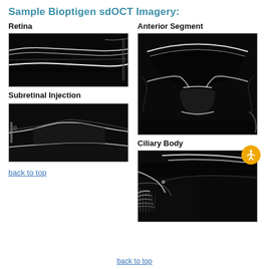Sample Bioptigen sdOCT Imagery:
Retina
Anterior Segment
[Figure (photo): OCT scan of retina showing layered retinal structure in grayscale]
[Figure (photo): OCT scan of anterior segment showing cornea and lens curvature in grayscale]
Subretinal Injection
[Figure (photo): OCT scan showing subretinal injection with bleb formation in grayscale]
Ciliary Body
[Figure (photo): OCT scan of ciliary body showing trabecular meshwork and angle structures in grayscale]
back to top
back to top